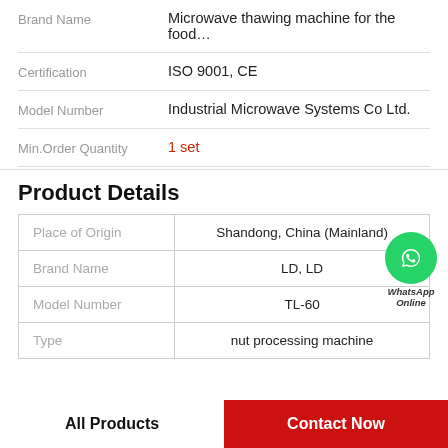| Brand Name |  |
| --- | --- |
| Brand Name | Microwave thawing machine for the food… |
| Certification | ISO 9001, CE |
| Model Number | Industrial Microwave Systems Co Ltd. |
| Min.Order Quantity | 1 set |
Product Details
|  |  |
| --- | --- |
| Place of Origin | Shandong, China (Mainland) |
| Brand Name | LD, LD |
| Model Number | TL-60 |
| Type | nut processing machine |
All Products
Contact Now